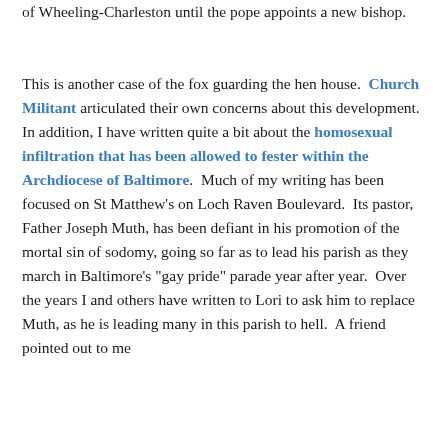of Wheeling-Charleston until the pope appoints a new bishop.
This is another case of the fox guarding the hen house.  Church Militant articulated their own concerns about this development.  In addition, I have written quite a bit about the homosexual infiltration that has been allowed to fester within the Archdiocese of Baltimore.  Much of my writing has been focused on St Matthew's on Loch Raven Boulevard.  Its pastor, Father Joseph Muth, has been defiant in his promotion of the mortal sin of sodomy, going so far as to lead his parish as they march in Baltimore's "gay pride" parade year after year.  Over the years I and others have written to Lori to ask him to replace Muth, as he is leading many in this parish to hell.  A friend pointed out to me